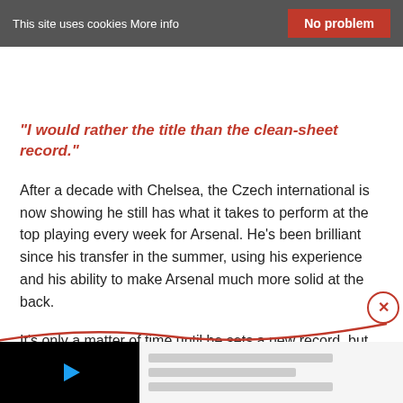This site uses cookies More info   No problem
"I would rather the title than the clean-sheet record."
After a decade with Chelsea, the Czech international is now showing he still has what it takes to perform at the top playing every week for Arsenal. He's been brilliant since his transfer in the summer, using his experience and his ability to make Arsenal much more solid at the back.
It's only a matter of time until he sets a new record, but that's not what his mind is on.
[Figure (screenshot): Video player thumbnail with black screen and blue play button, alongside advertisement placeholder with gray bars]